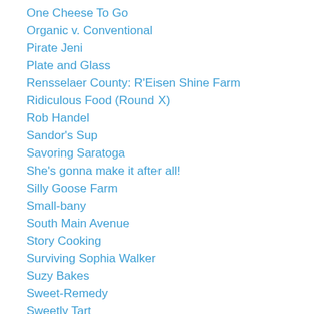One Cheese To Go
Organic v. Conventional
Pirate Jeni
Plate and Glass
Rensselaer County: R'Eisen Shine Farm
Ridiculous Food (Round X)
Rob Handel
Sandor's Sup
Savoring Saratoga
She's gonna make it after all!
Silly Goose Farm
Small-bany
South Main Avenue
Story Cooking
Surviving Sophia Walker
Suzy Bakes
Sweet-Remedy
Sweetly Tart
Talkanatalka
Team Nutrition Genius feat. The Sassy Dietitian